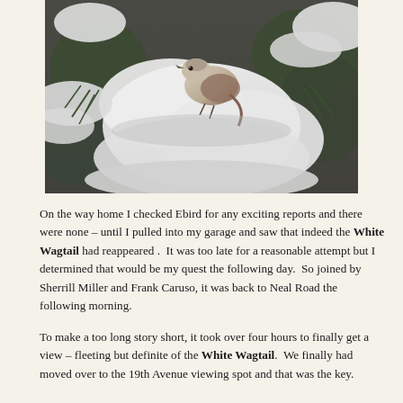[Figure (photo): A bird perched among snow-covered evergreen branches. The bird appears to be a small grayish-white bird, possibly a wagtail, sitting amid heavily snow-laden conifer boughs with some green needles visible beneath the snow.]
On the way home I checked Ebird for any exciting reports and there were none – until I pulled into my garage and saw that indeed the White Wagtail had reappeared .  It was too late for a reasonable attempt but I determined that would be my quest the following day.  So joined by Sherrill Miller and Frank Caruso, it was back to Neal Road the following morning.
To make a too long story short, it took over four hours to finally get a view – fleeting but definite of the White Wagtail.  We finally had moved over to the 19th Avenue viewing spot and that was the key.